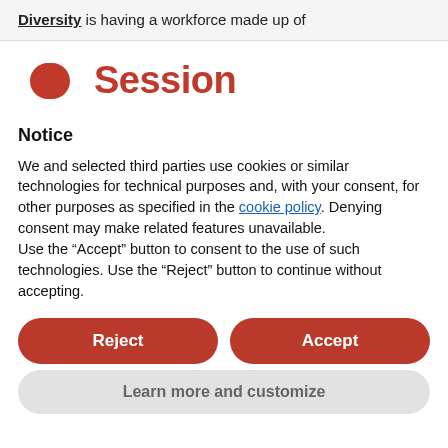Diversity is having a workforce made up of
[Figure (logo): Session app logo: red stylized infinity/loop icon followed by red bold text 'Session']
Notice
We and selected third parties use cookies or similar technologies for technical purposes and, with your consent, for other purposes as specified in the cookie policy. Denying consent may make related features unavailable.
Use the “Accept” button to consent to the use of such technologies. Use the “Reject” button to continue without accepting.
Reject
Accept
Learn more and customize